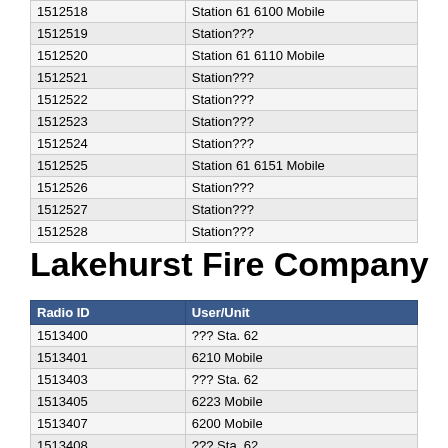| Radio ID | User/Unit |
| --- | --- |
| 1512518 | Station 61 6100 Mobile |
| 1512519 | Station??? |
| 1512520 | Station 61 6110 Mobile |
| 1512521 | Station??? |
| 1512522 | Station??? |
| 1512523 | Station??? |
| 1512524 | Station??? |
| 1512525 | Station 61 6151 Mobile |
| 1512526 | Station??? |
| 1512527 | Station??? |
| 1512528 | Station??? |
Lakehurst Fire Company
| Radio ID | User/Unit |
| --- | --- |
| 1513400 | ??? Sta. 62 |
| 1513401 | 6210 Mobile |
| 1513403 | ??? Sta. 62 |
| 1513405 | 6223 Mobile |
| 1513407 | 6200 Mobile |
| 1513408 | ??? Sta. 62 |
| 1513409 | 6210 |
| 1513410 | ??? Sta. 62 |
| 1513411 | ??? Sta. 62 |